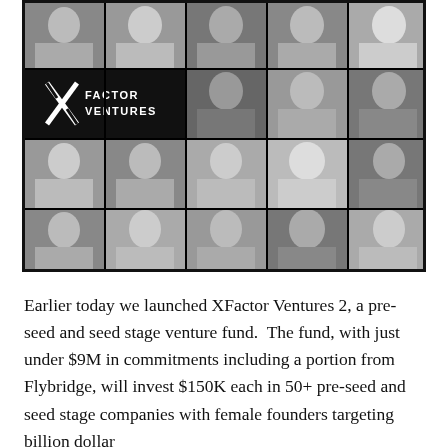[Figure (photo): Collage of headshot photos of women and men in black and white grid layout with X Factor Ventures logo overlaid on black background in top-left area of second row]
Earlier today we launched XFactor Ventures 2, a pre-seed and seed stage venture fund.  The fund, with just under $9M in commitments including a portion from Flybridge, will invest $150K each in 50+ pre-seed and seed stage companies with female founders targeting billion dollar